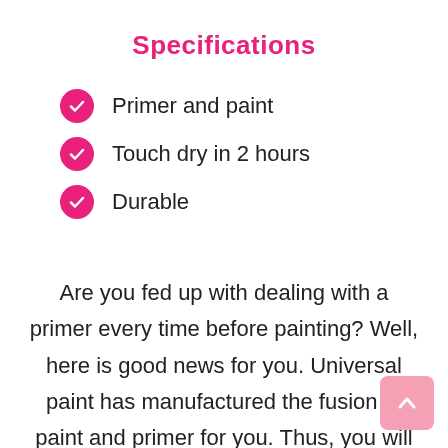Specifications
Primer and paint
Touch dry in 2 hours
Durable
Are you fed up with dealing with a primer every time before painting? Well, here is good news for you. Universal paint has manufactured the fusion of paint and primer for you. Thus, you will not be missing out on perks that primer offer while not hassling with it at all. With the elegant gloss finish. Rust-Oleum paint will leave you and